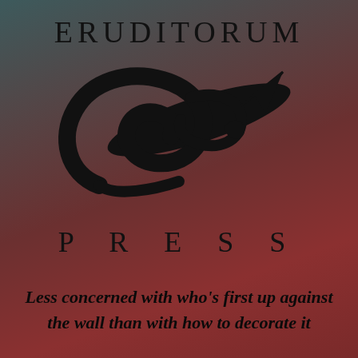[Figure (logo): Eruditorum Press logo: the word ERUDITORUM in spaced serif capitals above a stylized cursive 'ep' monogram with a quill/pen motif, followed by the word PRESS in widely spaced serif capitals. Background is a dark teal-to-dark-red gradient.]
Less concerned with who's first up against the wall than with how to decorate it